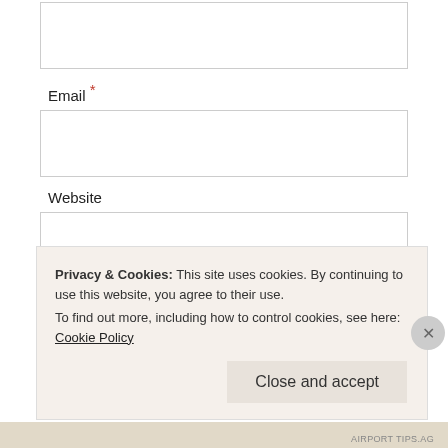Email *
Website
POST COMMENT
Notify me of new comments via email.
Notify me of new posts via email.
Privacy & Cookies: This site uses cookies. By continuing to use this website, you agree to their use. To find out more, including how to control cookies, see here: Cookie Policy
Close and accept
AIRPORT TIPS.AG